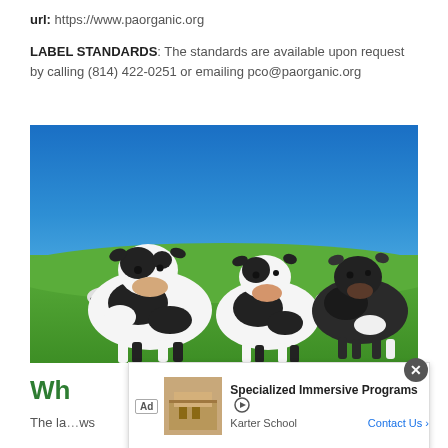url: https://www.paorganic.org
LABEL STANDARDS: The standards are available upon request by calling (814) 422-0251 or emailing pco@paorganic.org
[Figure (photo): Three black and white Holstein dairy cows standing in a green field under a bright blue sky, with more cows visible in the background.]
Wh...
The la... ws
[Figure (other): Advertisement overlay: Specialized Immersive Programs by Karter School with a Contact Us button.]